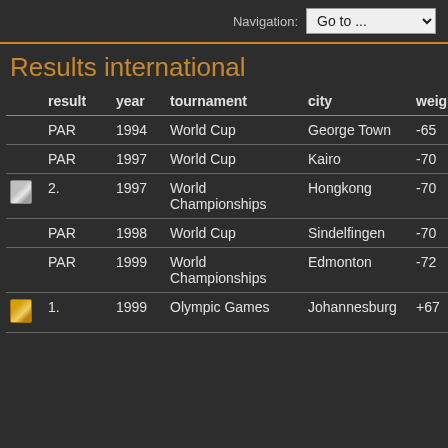Navigation: Go to ...
Results international
|  | result | year | tournament | city | weight | categ |
| --- | --- | --- | --- | --- | --- | --- |
|  | PAR | 1994 | World Cup | George Town | -65 | senior |
|  | PAR | 1997 | World Cup | Kairo | -70 | senior |
| [silver] | 2. | 1997 | World Championships | Hongkong | -70 | senior |
|  | PAR | 1998 | World Cup | Sindelfingen | -70 | senior |
|  | PAR | 1999 | World Championships | Edmonton | -72 | senior |
| [gold] | 1. | 1999 | Olympic Games | Johannesburg | +67 | senior |